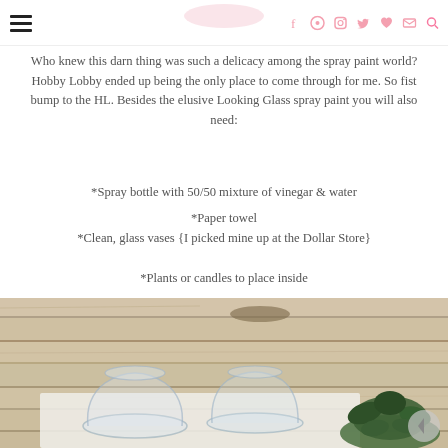Navigation header with hamburger menu and social icons (facebook, pinterest, instagram, twitter, heart, mail, search) in pink
Who knew this darn thing was such a delicacy among the spray paint world? Hobby Lobby ended up being the only place to come through for me. So fist bump to the HL. Besides the elusive Looking Glass spray paint you will also need:
*Spray bottle with 50/50 mixture of vinegar & water
*Paper towel
*Clean, glass vases {I picked mine up at the Dollar Store}
*Plants or candles to place inside
[Figure (photo): Three clear glass vases sitting on a wooden plank surface, with green succulent plants visible on the right side]